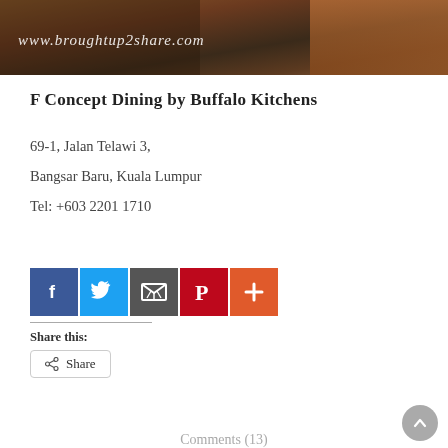[Figure (photo): Top banner photo of restaurant/food setting with watermark text 'www.broughtup2share.com']
F Concept Dining by Buffalo Kitchens
69-1, Jalan Telawi 3,
Bangsar Baru, Kuala Lumpur
Tel: +603 2201 1710
[Figure (infographic): Social sharing icons: Facebook (blue), Twitter (light blue), Email (dark gray), Pinterest (red), More/Plus (orange-red)]
Share this:
Share
Comments (13)